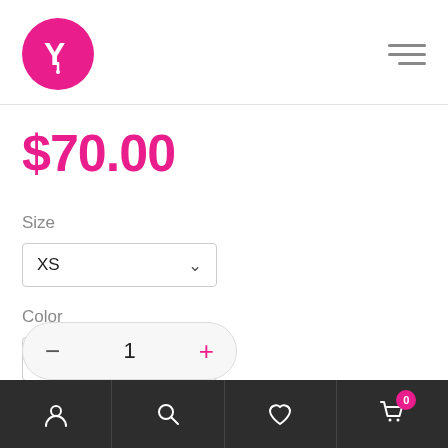[Figure (logo): Pink circle logo with white Y/dropper icon]
$70.00
Size
XS
Color
White
1
Account | Search | Wishlist | Cart (0)